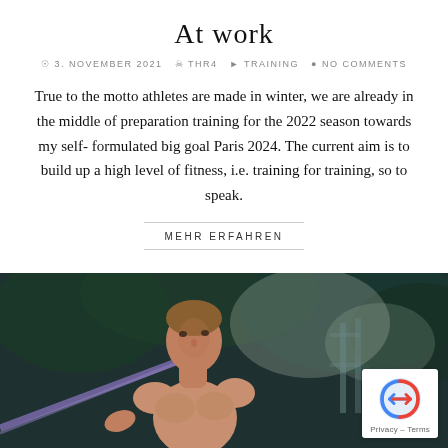At work
3. NOVEMBER 2021  THR4  TRAINING  NO COMMENTS
True to the motto athletes are made in winter, we are already in the middle of preparation training for the 2022 season towards my self-formulated big goal Paris 2024. The current aim is to build up a high level of fitness, i.e. training for training, so to speak.
MEHR ERFAHREN
[Figure (photo): Shirtless male athlete holding a pole outdoors with trees in background, dark moody lighting]